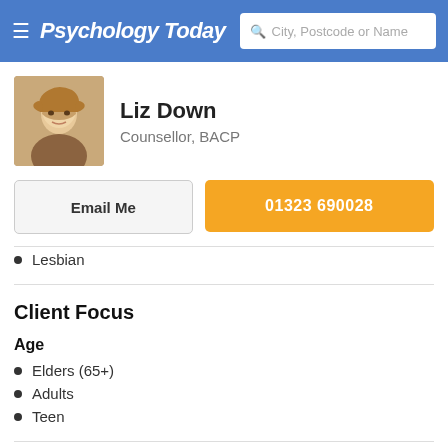Psychology Today — City, Postcode or Name search bar
Liz Down
Counsellor, BACP
Email Me
01323 690028
Lesbian
Client Focus
Age
Elders (65+)
Adults
Teen